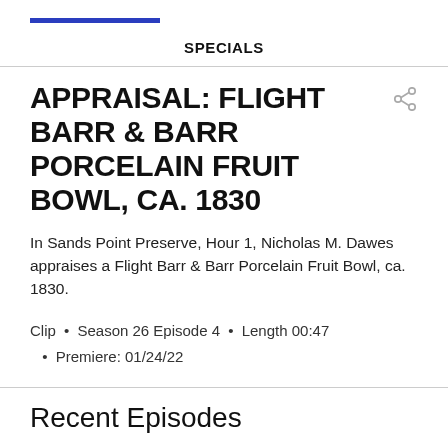SPECIALS
APPRAISAL: FLIGHT BARR & BARR PORCELAIN FRUIT BOWL, CA. 1830
In Sands Point Preserve, Hour 1, Nicholas M. Dawes appraises a Flight Barr & Barr Porcelain Fruit Bowl, ca. 1830.
Clip • Season 26 Episode 4 • Length 00:47 • Premiere: 01/24/22
Recent Episodes